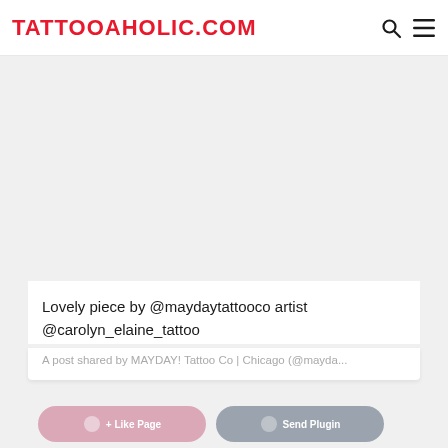TATTOOAHOLIC.COM
[Figure (photo): Tattoo artwork photo placeholder (light gray area)]
Lovely piece by @maydaytattooco artist @carolyn_elaine_tattoo
A post shared by MAYDAY! Tattoo Co | Chicago (@mayda...
[Figure (screenshot): Second social media post card with two buttons visible at bottom]